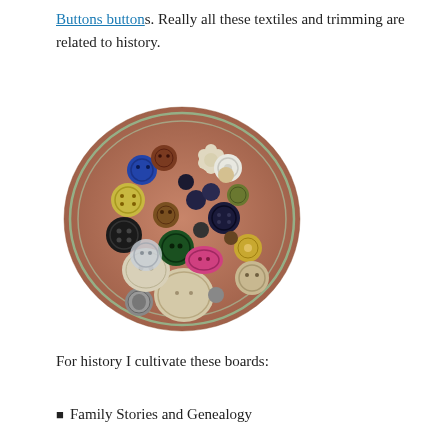Buttons buttons. Really all these textiles and trimming are related to history.
[Figure (photo): A glass bowl filled with a large collection of mixed vintage buttons of various sizes, colors, and materials including plastic, metal, shell, and fabric buttons.]
For history I cultivate these boards:
Family Stories and Genealogy